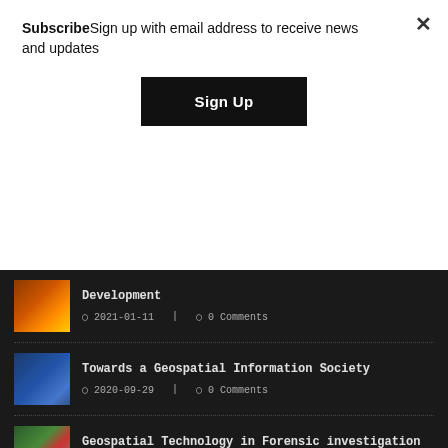SubscribeSign up with email address to receive news and updates
Sign Up
Development
2021-01-11 | 0 Comments
Towards a Geospatial Information Society
2020-09-29 | 0 Comments
Geospatial Technology in Forensic investigation
2020-06-18 | 0 Comments